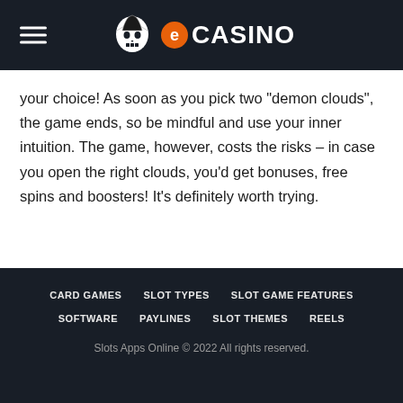eCASINO
your choice! As soon as you pick two "demon clouds", the game ends, so be mindful and use your inner intuition. The game, however, costs the risks – in case you open the right clouds, you'd get bonuses, free spins and boosters! It's definitely worth trying.
CARD GAMES  SLOT TYPES  SLOT GAME FEATURES  SOFTWARE  PAYLINES  SLOT THEMES  REELS
Slots Apps Online © 2022 All rights reserved.